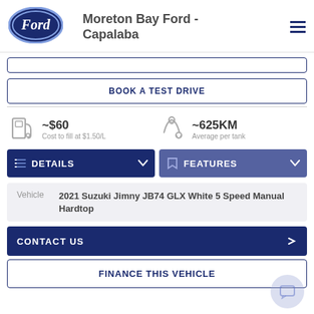[Figure (logo): Ford oval logo, dark blue background with white Ford script]
Moreton Bay Ford - Capalaba
BOOK A TEST DRIVE
~$60 Cost to fill at $1.50/L
~625KM Average per tank
DETAILS
FEATURES
| Vehicle |  |
| --- | --- |
| Vehicle | 2021 Suzuki Jimny JB74 GLX White 5 Speed Manual Hardtop |
CONTACT US
FINANCE THIS VEHICLE